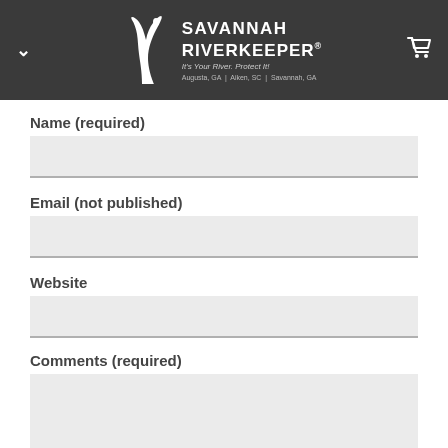Savannah Riverkeeper® — Augusta, GA | Aiken, SC | Savannah, GA
Name (required)
Email (not published)
Website
Comments (required)